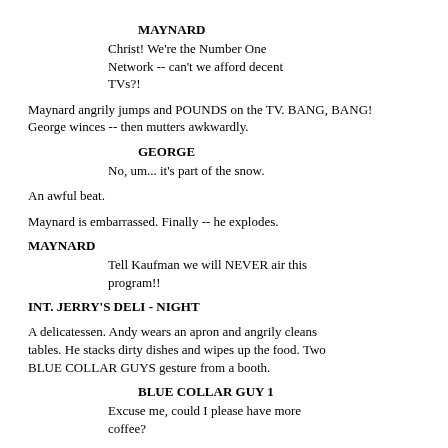MAYNARD
Christ!  We're the Number One
Network -- can't we afford decent
TVs?!
Maynard angrily jumps and POUNDS on the TV.  BANG, BANG!
George winces -- then mutters awkwardly.
GEORGE
No, um... it's part of the snow.
An awful beat.
Maynard is embarrassed.  Finally -- he explodes.
MAYNARD
Tell Kaufman we will NEVER air this
program!!
INT. JERRY'S DELI - NIGHT
A delicatessen.  Andy wears an apron and angrily cleans
tables.  He stacks dirty dishes and wipes up the food.  Two
BLUE COLLAR GUYS gesture from a booth.
BLUE COLLAR GUY 1
Excuse me, could I please have more
coffee?